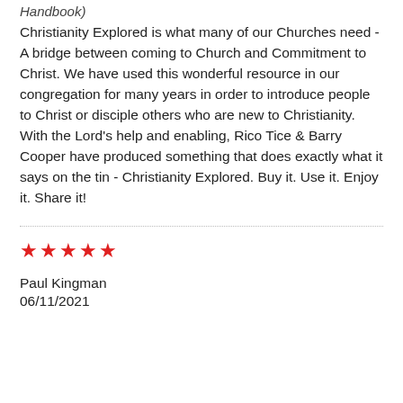Handbook)
Christianity Explored is what many of our Churches need - A bridge between coming to Church and Commitment to Christ. We have used this wonderful resource in our congregation for many years in order to introduce people to Christ or disciple others who are new to Christianity. With the Lord's help and enabling, Rico Tice & Barry Cooper have produced something that does exactly what it says on the tin - Christianity Explored. Buy it. Use it. Enjoy it. Share it!
★★★★★
Paul Kingman
06/11/2021